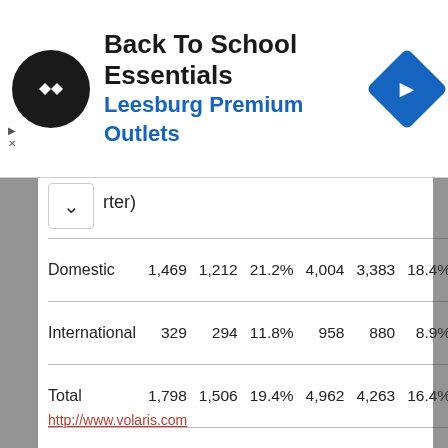[Figure (screenshot): Advertisement banner for Back To School Essentials at Leesburg Premium Outlets, with logo, text, and navigation icon]
rter)
|  |  |  |  |  |  |  |
| --- | --- | --- | --- | --- | --- | --- |
| Domestic | 1,469 | 1,212 | 21.2% | 4,004 | 3,383 | 18.4% |
| International | 329 | 294 | 11.8% | 958 | 880 | 8.9% |
| Total | 1,798 | 1,506 | 19.4% | 4,962 | 4,263 | 16.4% |
http://www.volaris.com